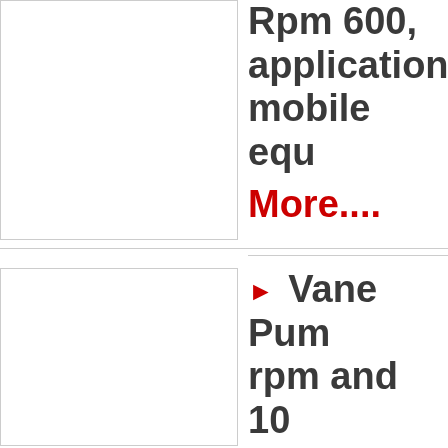[Figure (photo): Product image placeholder - top left box]
Rpm 600, application mobile equ
More....
[Figure (photo): Product image placeholder - bottom left box]
Vane Pump rpm and 10 Eaton Vick Pumps